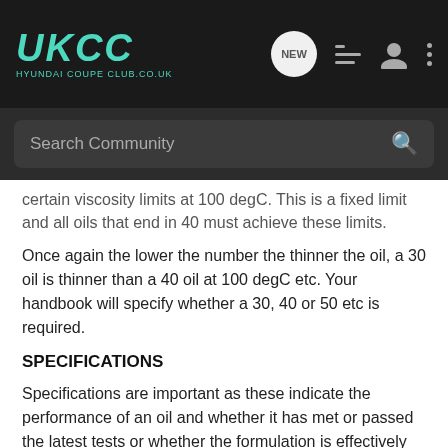UKCC HYUNDAI COUPE CLUB.CO.UK
certain viscosity limits at 100 degC. This is a fixed limit and all oils that end in 40 must achieve these limits.
Once again the lower the number the thinner the oil, a 30 oil is thinner than a 40 oil at 100 degC etc. Your handbook will specify whether a 30, 40 or 50 etc is required.
SPECIFICATIONS
Specifications are important as these indicate the performance of an oil and whether it has met or passed the latest tests or whether the formulation is effectively obsolete or out of date.
There are two specifications that you should look for on any oil bottle and these are API (American Petroleum Institute) and ACEA (Association des Constructeurs Europeens